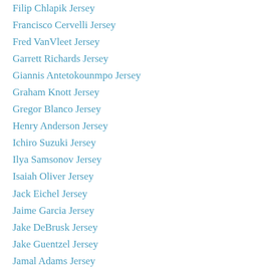Filip Chlapik Jersey
Francisco Cervelli Jersey
Fred VanVleet Jersey
Garrett Richards Jersey
Giannis Antetokounmpo Jersey
Graham Knott Jersey
Gregor Blanco Jersey
Henry Anderson Jersey
Ichiro Suzuki Jersey
Ilya Samsonov Jersey
Isaiah Oliver Jersey
Jack Eichel Jersey
Jaime Garcia Jersey
Jake DeBrusk Jersey
Jake Guentzel Jersey
Jamal Adams Jersey
Jamize Olawale Jersey
Janoris Jenkins Jersey
Jarod Goff Jersey